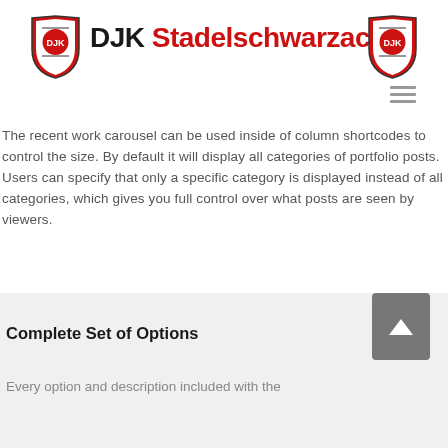[Figure (logo): DJK Stadelschwarzach header with two shield logos on either side and site name in bold black and red text]
The recent work carousel can be used inside of column shortcodes to control the size. By default it will display all categories of portfolio posts. Users can specify that only a specific category is displayed instead of all categories, which gives you full control over what posts are seen by viewers.
Complete Set of Options
Every option and description included with the